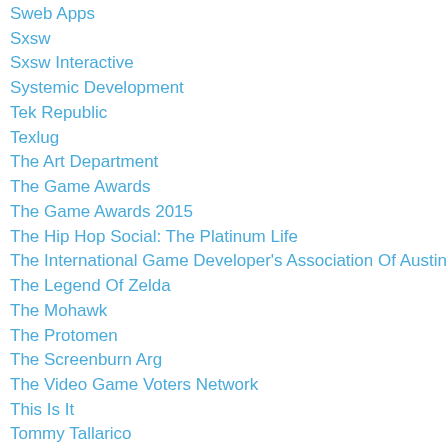Sweb Apps
Sxsw
Sxsw Interactive
Systemic Development
Tek Republic
Texlug
The Art Department
The Game Awards
The Game Awards 2015
The Hip Hop Social: The Platinum Life
The International Game Developer's Association Of Austin
The Legend Of Zelda
The Mohawk
The Protomen
The Screenburn Arg
The Video Game Voters Network
This Is It
Tommy Tallarico
Tragedy
Tsunami
Twist Education